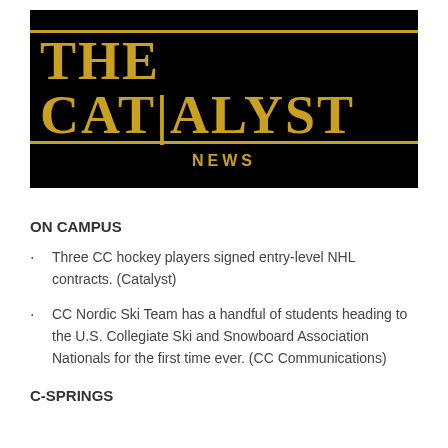[Figure (logo): The Catalyst News banner logo — black background with gold/yellow serif text reading THE CATALYST with horizontal gold lines above and below, and the word NEWS in gold spaced capitals below]
ON CAMPUS
Three CC hockey players signed entry-level NHL contracts. (Catalyst)
CC Nordic Ski Team has a handful of students heading to the U.S. Collegiate Ski and Snowboard Association Nationals for the first time ever. (CC Communications)
C-SPRINGS